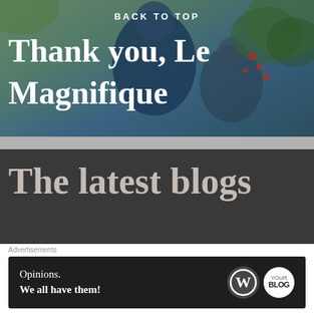[Figure (photo): Background photo of people at an event with tropical foliage decoration, overlaid with text. Shows 'BACK TO TOP' at top and 'Thank you, Le Magnifique' in large white bold text.]
Thank you, Le Magnifique
The latest blogs
We'll be back in September
[Figure (screenshot): Advertisement banner with dark background showing WordPress and Blog logos with text: Opinions. We all have them!]